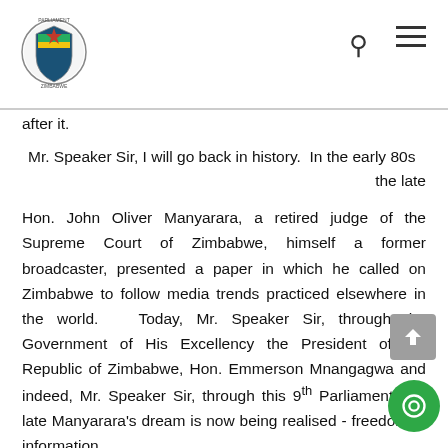Parliament of Zimbabwe header with logo, search icon, and menu icon
after it.
Mr. Speaker Sir, I will go back in history.  In the early 80s the late
Hon. John Oliver Manyarara, a retired judge of the Supreme Court of Zimbabwe, himself a former broadcaster, presented a paper in which he called on Zimbabwe to follow media trends practiced elsewhere in the world.  Today, Mr. Speaker Sir, through the Government of His Excellency the President of the Republic of Zimbabwe, Hon. Emmerson Mnangagwa and indeed, Mr. Speaker Sir, through this 9th Parliament, the late Manyarara's dream is now being realised - freedom of information.